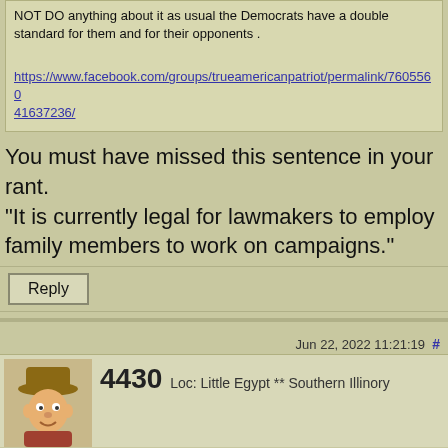NOT DO anything about it as usual the Democrats have a double standard for them and for their opponents .
https://www.facebook.com/groups/trueamericanpatriot/permalink/760556041637236/
You must have missed this sentence in your rant.
“It is currently legal for lawmakers to employ family members to work on campaigns.”
Reply
Jun 22, 2022 11:21:19  #
4430  Loc: Little Egypt ** Southern Illinory